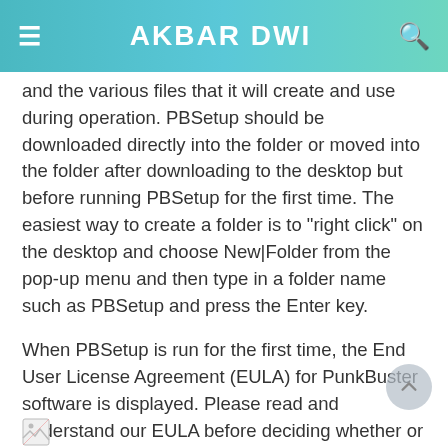AKBAR DWI
and the various files that it will create and use during operation. PBSetup should be downloaded directly into the folder or moved into the folder after downloading to the desktop but before running PBSetup for the first time. The easiest way to create a folder is to "right click" on the desktop and choose New|Folder from the pop-up menu and then type in a folder name such as PBSetup and press the Enter key.
When PBSetup is run for the first time, the End User License Agreement (EULA) for PunkBuster software is displayed. Please read and understand our EULA before deciding whether or not to accept it and proceed. Below are displayed sample screenshots and instructions for using PBSetup.
[Figure (other): Broken/loading image icon at bottom left of page]